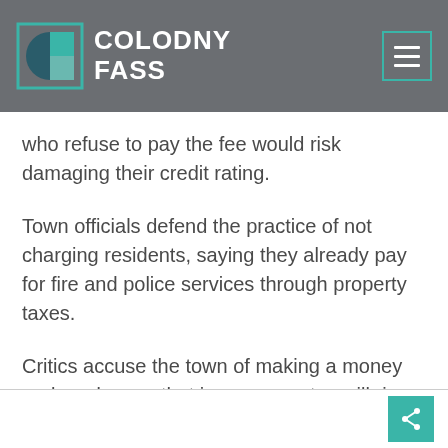COLODNY FASS
who refuse to pay the fee would risk damaging their credit rating.
Town officials defend the practice of not charging residents, saying they already pay for fire and police services through property taxes.
Critics accuse the town of making a money grab and worry that insurance rates will rise as more cities pass similar fees.